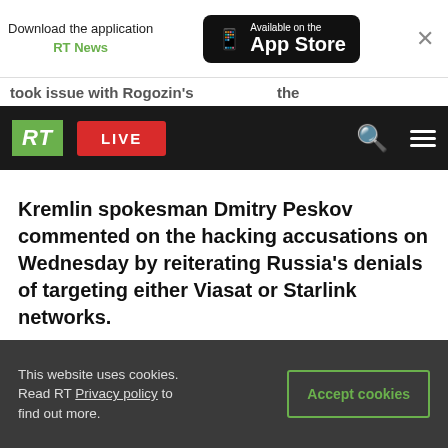Download the application RT News — Available on the App Store
took issue with Rogozin's...the
RT LIVE
Kremlin spokesman Dmitry Peskov commented on the hacking accusations on Wednesday by reiterating Russia's denials of targeting either Viasat or Starlink networks.
[Figure (other): Black video thumbnail placeholder]
This website uses cookies. Read RT Privacy policy to find out more.
Accept cookies
READ MORE: Elon Musk says he will not...